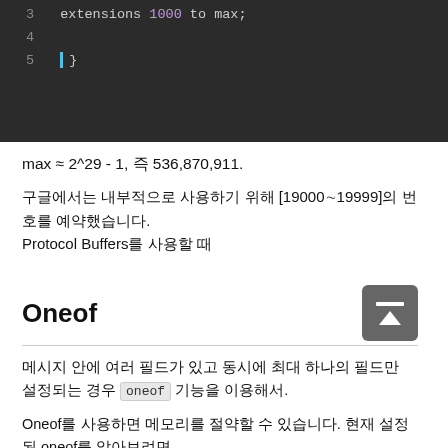[Figure (screenshot): Code editor screenshot showing lines 3-5. Line 3: 'extensions 1000 to max;' with 'extensions' in regular color and '1000' in purple. Line 4: empty. Line 5: closing brace '}'. Dark background editor theme with a cyan cursor bar on line 5.]
max ≈ 2^29 - 1, 즉 536,870,911.
구글에서는 내부적으로 사용하기 위해 [19000∼19999]의 번호를 예약했습니다. Protocol Buffers를 사용할 때
Oneof
메시지 안에 여러 필드가 있고 동시에 최대 하나의 필드만 설정되는 경우 oneof 기능을 이용해서
Oneof를 사용하면 메모리를 절약할 수 있습니다. 현재 설정된 oneof 를 알아보려면 case()이나 WhichOneof() 메서드를 이용 하면 됩니다.